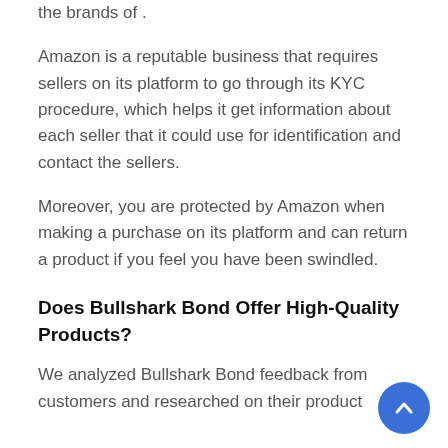the brands of .
Amazon is a reputable business that requires sellers on its platform to go through its KYC procedure, which helps it get information about each seller that it could use for identification and contact the sellers.
Moreover, you are protected by Amazon when making a purchase on its platform and can return a product if you feel you have been swindled.
Does Bullshark Bond Offer High-Quality Products?
We analyzed Bullshark Bond feedback from customers and researched on their product